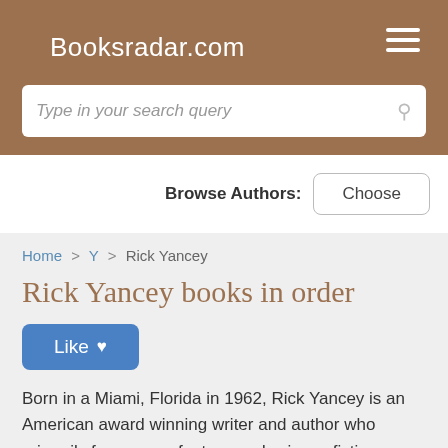Booksradar.com
Type in your search query
Browse Authors: Choose
Home > Y > Rick Yancey
Rick Yancey books in order
Like
Born in a Miami, Florida in 1962, Rick Yancey is an American award winning writer and author who primarily focuses on fantasy and science fiction